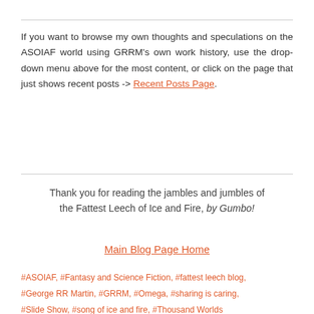If you want to browse my own thoughts and speculations on the ASOIAF world using GRRM's own work history, use the drop-down menu above for the most content, or click on the page that just shows recent posts -> Recent Posts Page.
Thank you for reading the jambles and jumbles of the Fattest Leech of Ice and Fire, by Gumbo!
Main Blog Page Home
#ASOIAF, #Fantasy and Science Fiction, #fattest leech blog, #George RR Martin, #GRRM, #Omega, #sharing is caring, #Slide Show, #song of ice and fire, #Thousand Worlds